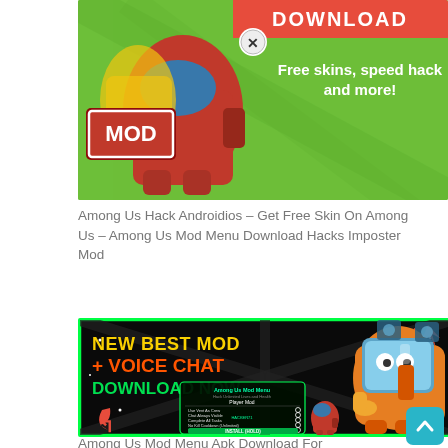[Figure (screenshot): Among Us MOD game promotional banner with green background, MOD badge, red character, and text 'Free skins, speed hack and more!' with DOWNLOAD banner at top]
Among Us Hack Androidios – Get Free Skin On Among Us – Among Us Mod Menu Download Hacks Imposter Mod
[Figure (screenshot): Among Us Mod Menu promotional image with dark background, green border, orange character, text 'NEW BEST MOD + VOICE CHAT DOWNLOAD NOW', and mod menu interface panel]
Among Us Mod Menu Apk Download For Androidpc Voice Chat Mod